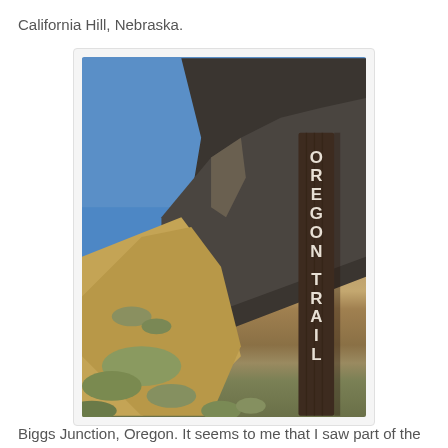California Hill, Nebraska.
[Figure (photo): Outdoor photograph of an Oregon Trail wooden marker sign with rocky hills and blue sky in the background, at Biggs Junction, Oregon.]
Biggs Junction, Oregon. It seems to me that I saw part of the